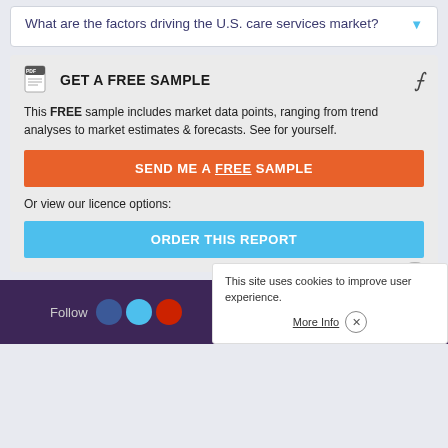What are the factors driving the U.S. care services market?
GET A FREE SAMPLE
This FREE sample includes market data points, ranging from trend analyses to market estimates & forecasts. See for yourself.
SEND ME A FREE SAMPLE
Or view our licence options:
ORDER THIS REPORT
Follow
This site uses cookies to improve user experience.
More Info